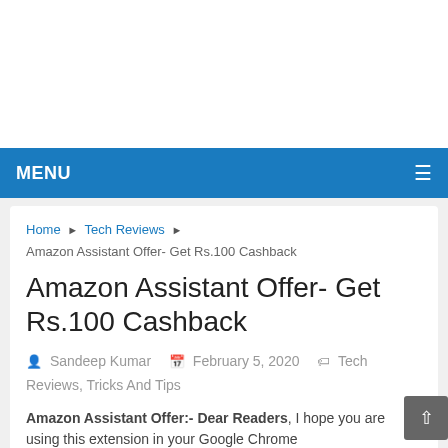MENU
Home › Tech Reviews › Amazon Assistant Offer- Get Rs.100 Cashback
Amazon Assistant Offer- Get Rs.100 Cashback
Sandeep Kumar   February 5, 2020   Tech Reviews, Tricks And Tips
Amazon Assistant Offer:- Dear Readers, I hope you are using this extension in your Google Chrome